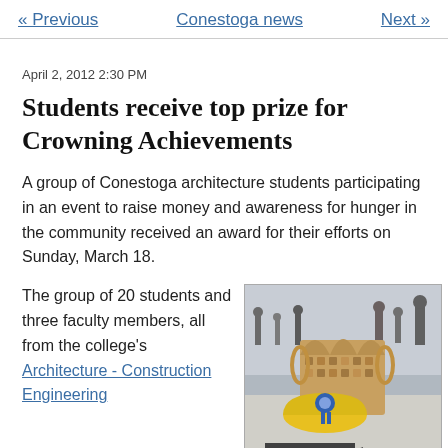« Previous   Conestoga news   Next »
April 2, 2012 2:30 PM
Students receive top prize for Crowning Achievements
A group of Conestoga architecture students participating in an event to raise money and awareness for hunger in the community received an award for their efforts on Sunday, March 18.
The group of 20 students and three faculty members, all from the college's Architecture - Construction Engineering
[Figure (photo): A crown-shaped sculpture made of canned goods with a blue ribbon award on a yellow hard hat in the foreground, displayed in a mall or public space. A 'VOTE HERE' sign is visible at the bottom.]